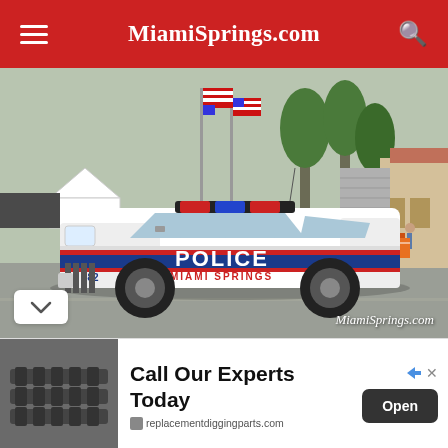MiamiSprings.com
[Figure (photo): Miami Springs Police car (Ford sedan, unit #682, white with blue and red POLICE / MIAMI SPRINGS markings) parked on a street at what appears to be a community event, with American flags, palm trees, tents, and buildings in the background. Watermark reads MiamiSprings.com]
[Figure (photo): Advertisement image showing black metal replacement digging parts/chain components on grey background]
Call Our Experts Today
replacementdiggingparts.com